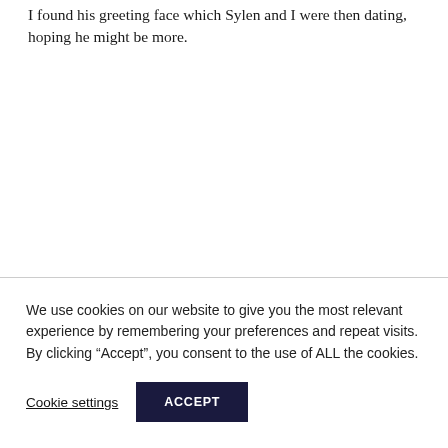I found his greeting face which Sylen and I were then dating, hoping he might be more.
We use cookies on our website to give you the most relevant experience by remembering your preferences and repeat visits. By clicking “Accept”, you consent to the use of ALL the cookies.
Cookie settings
ACCEPT